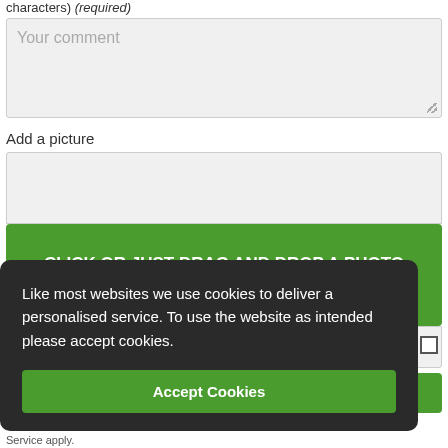characters) (required)
Your comment
Add a picture
CLICK OR JUST DRAG AND DROP A PHOTO HERE
Like most websites we use cookies to deliver a personalised service. To use the website as intended please accept cookies.
Accept Cookies
COMMENT AND REGISTER
This site is protected by reCAPTCHA and the Google Privacy Policy and Terms of Service apply.